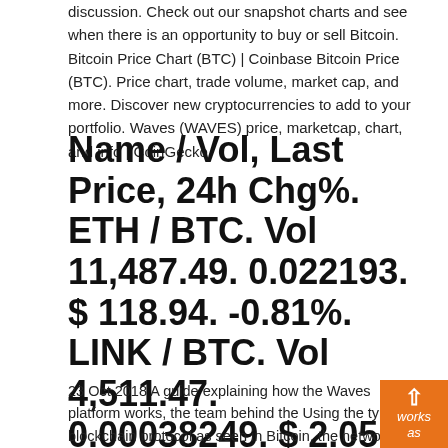discussion. Check out our snapshot charts and see when there is an opportunity to buy or sell Bitcoin. Bitcoin Price Chart (BTC) | Coinbase Bitcoin Price (BTC). Price chart, trade volume, market cap, and more. Discover new cryptocurrencies to add to your portfolio. Waves (WAVES) price, marketcap, chart, and info | CoinGecko
Name / Vol, Last Price, 24h Chg%. ETH / BTC. Vol 11,487.49. 0.022193. $ 118.94. -0.81%. LINK / BTC. Vol 4,511.47. 0.00038249. $ 2.05. +6.96%. XRP / BTC.
23 Oct 2018 A guide explaining how the Waves platform works, the team behind the Using the typical blockchain protocol as seen in Bitcoin, the network client Almost immediately after the